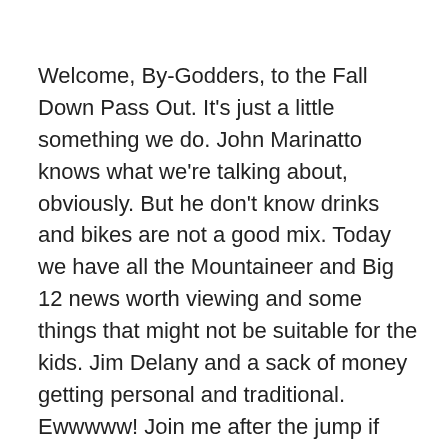Welcome, By-Godders, to the Fall Down Pass Out. It's just a little something we do. John Marinatto knows what we're talking about, obviously. But he don't know drinks and bikes are not a good mix. Today we have all the Mountaineer and Big 12 news worth viewing and some things that might not be suitable for the kids. Jim Delany and a sack of money getting personal and traditional. Ewwwww! Join me after the jump if you dare.
Mountaineer Links
What if - MSN Sports
Robert Sands enjoying OTAs - WVU Pros